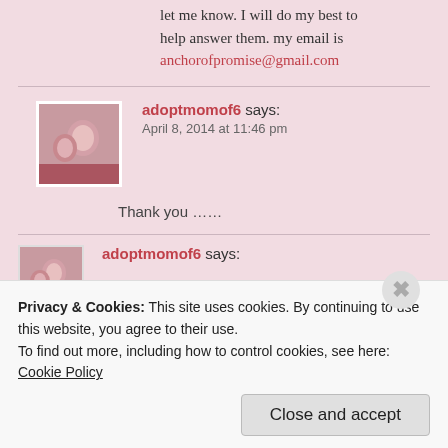let me know. I will do my best to help answer them. my email is anchorofpromise@gmail.com
[Figure (photo): Avatar photo of a woman and child, used as comment profile picture]
adoptmomof6 says: April 8, 2014 at 11:46 pm
Thank you ……
[Figure (photo): Avatar photo of a woman and child, used as comment profile picture (second comment)]
adoptmomof6 says:
Privacy & Cookies: This site uses cookies. By continuing to use this website, you agree to their use.
To find out more, including how to control cookies, see here: Cookie Policy
Close and accept